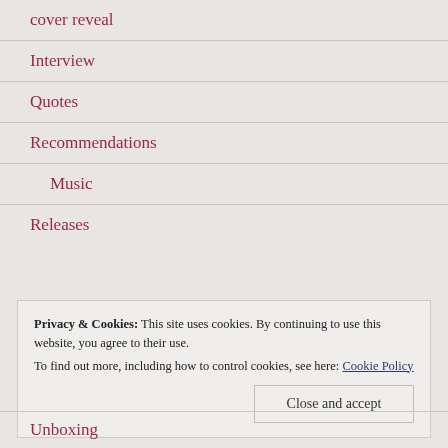cover reveal
Interview
Quotes
Recommendations
Music
Releases
Privacy & Cookies: This site uses cookies. By continuing to use this website, you agree to their use.
To find out more, including how to control cookies, see here: Cookie Policy
Unboxing